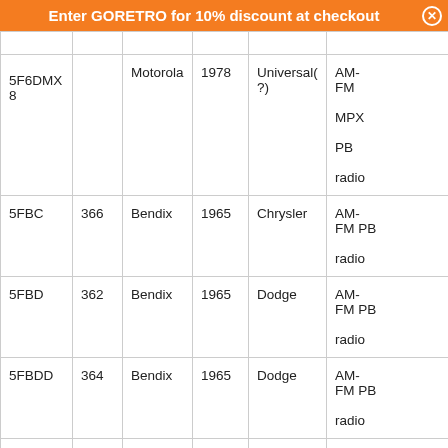Enter GORETRO for 10% discount at checkout
| 5F6DMX8 |  | Motorola | 1978 | Universal(?) | AM-FM MPX PB radio |
| 5FBC | 366 | Bendix | 1965 | Chrysler | AM-FM PB radio |
| 5FBD | 362 | Bendix | 1965 | Dodge | AM-FM PB radio |
| 5FBDD | 364 | Bendix | 1965 | Dodge | AM-FM PB radio |